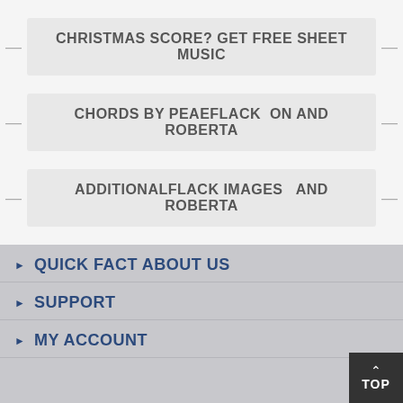CHRISTMAS SCORE? GET FREE SHEET MUSIC
CHORDS BY PEAEFLACK ON AND ROBERTA
ADDITIONALFLACK IMAGES  AND ROBERTA
QUICK FACT ABOUT US
SUPPORT
MY ACCOUNT
TOP